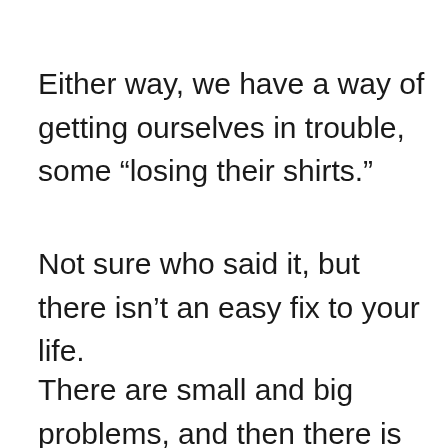Either way, we have a way of getting ourselves in trouble, some “losing their shirts.”
Not sure who said it, but there isn’t an easy fix to your life.
There are small and big problems, and then there is you trying to fix them